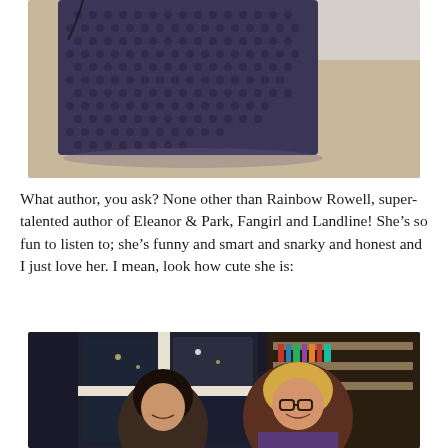[Figure (photo): Close-up photo of a dark navy/purple textured knit or woven item resting against a light-colored surface]
What author, you ask? None other than Rainbow Rowell, super-talented author of Eleanor & Park, Fangirl and Landline! She’s so fun to listen to; she’s funny and smart and snarky and honest and I just love her. I mean, look how cute she is:
[Figure (photo): Photo of two women smiling together indoors, one with dark hair and one with blonde hair wearing glasses, with a bookstore or indoor background visible through windows]